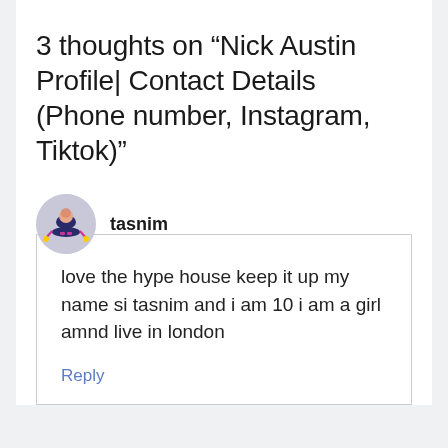3 thoughts on “Nick Austin Profile| Contact Details (Phone number, Instagram, Tiktok)”
tasnim
love the hype house keep it up my name si tasnim and i am 10 i am a girl amnd live in london
Reply